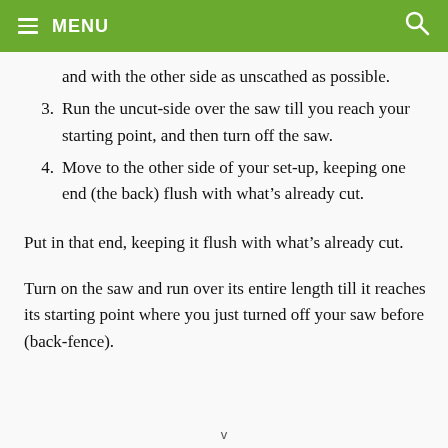MENU
and with the other side as unscathed as possible.
3. Run the uncut-side over the saw till you reach your starting point, and then turn off the saw.
4. Move to the other side of your set-up, keeping one end (the back) flush with what’s already cut.
Put in that end, keeping it flush with what’s already cut.
Turn on the saw and run over its entire length till it reaches its starting point where you just turned off your saw before (back-fence).
v